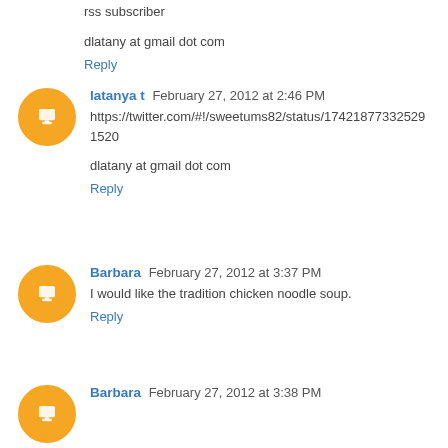rss subscriber
dlatany at gmail dot com
Reply
latanya t  February 27, 2012 at 2:46 PM
https://twitter.com/#!/sweetums82/status/174218773325291520
dlatany at gmail dot com
Reply
Barbara  February 27, 2012 at 3:37 PM
I would like the tradition chicken noodle soup.
Reply
Barbara  February 27, 2012 at 3:38 PM